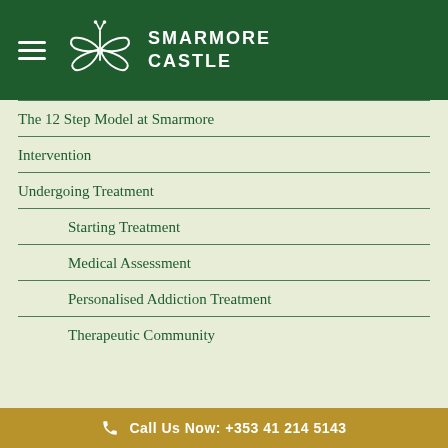Smarmore Castle
The 12 Step Model at Smarmore
Intervention
Undergoing Treatment
Starting Treatment
Medical Assessment
Personalised Addiction Treatment
Therapeutic Community
Call Us Now: +353 41 214 5143